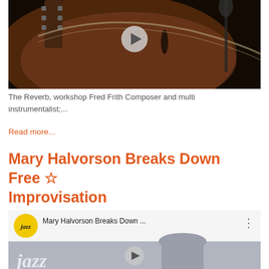[Figure (screenshot): Video thumbnail showing a close-up of a guitar with a play button overlay]
The Reverb, workshop Fred Frith Composer and multi instrumentalist;...
Read more...
Mary Halvorson Breaks Down Free Improvisation
[Figure (screenshot): YouTube video thumbnail showing Mary Halvorson Breaks Down... with jazz logo and play button]